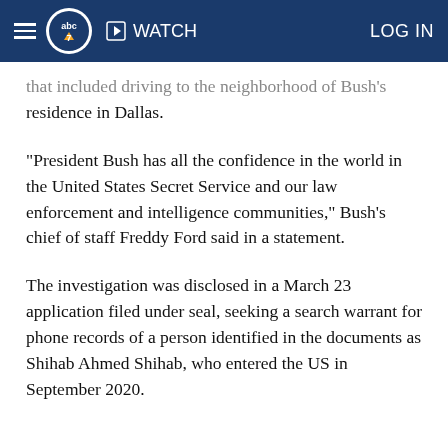abc7 WATCH LOG IN
…that included driving to the neighborhood of Bush's residence in Dallas.
"President Bush has all the confidence in the world in the United States Secret Service and our law enforcement and intelligence communities," Bush's chief of staff Freddy Ford said in a statement.
The investigation was disclosed in a March 23 application filed under seal, seeking a search warrant for phone records of a person identified in the documents as Shihab Ahmed Shihab, who entered the US in September 2020.